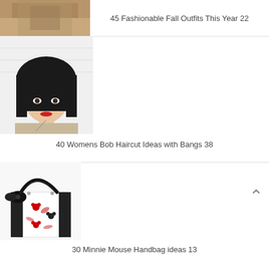[Figure (photo): Partial image of fall fashion outfit at top of page]
45 Fashionable Fall Outfits This Year 22
[Figure (photo): Woman with short black bob haircut and bangs, wearing a beige sweater with red lipstick]
40 Womens Bob Haircut Ideas with Bangs 38
[Figure (photo): White handbag with black and red Minnie Mouse floral pattern and black bow and handles]
30 Minnie Mouse Handbag ideas 13